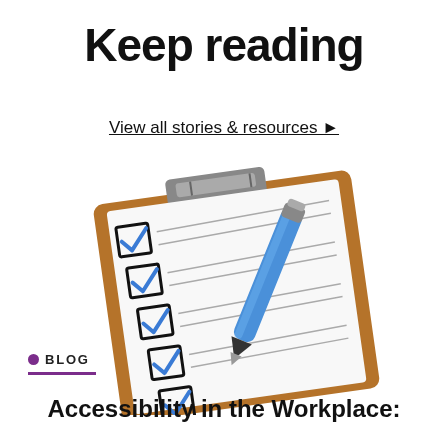Keep reading
View all stories & resources ▶
[Figure (illustration): A clipboard with a checklist showing six checked checkboxes with blue checkmarks, and a blue pen resting on top of the clipboard. The clipboard has a brown wooden frame and metal clip at the top.]
● BLOG
Accessibility in the Workplace: